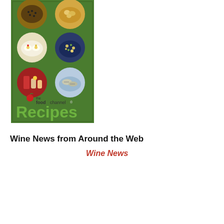[Figure (illustration): The Food Channel Recipes book cover showing six circular food photos arranged in a 2x3 grid on a dark green background, with 'the foodchannel' logo and 'Recipes' text in large green letters below.]
Wine News from Around the Web
Wine News